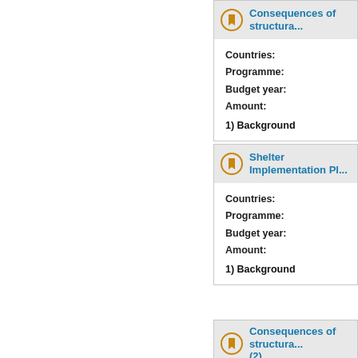Consequences of structura...
Countries:
Programme:
Budget year:
Amount:

1) Background
Shelter Implementation Pl...
Countries:
Programme:
Budget year:
Amount:

1) Background
Consequences of structura... (2)